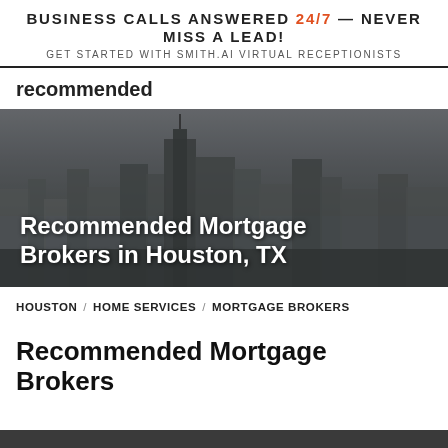BUSINESS CALLS ANSWERED 24/7 — NEVER MISS A LEAD! GET STARTED WITH SMITH.AI VIRTUAL RECEPTIONISTS
recommended
[Figure (photo): Aerial view of Houston, TX city skyline with skyscrapers under overcast sky, with bold white text overlay reading 'Recommended Mortgage Brokers in Houston, TX']
HOUSTON / HOME SERVICES / MORTGAGE BROKERS
Recommended Mortgage Brokers